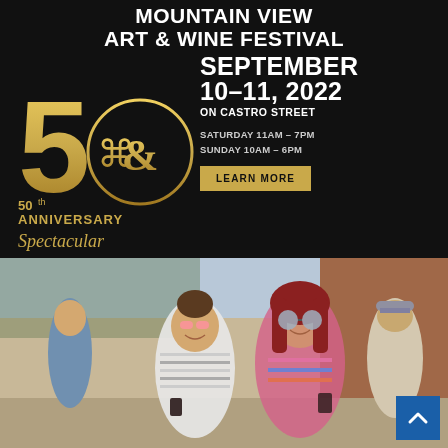Mountain View Art & Wine Festival
September 10-11, 2022 On Castro Street Saturday 11AM – 7PM Sunday 10AM – 6PM
50th Anniversary Spectacular
LEARN MORE
[Figure (photo): Two smiling women wearing sunglasses at an outdoor festival, holding drinks, with other festival attendees in the background]